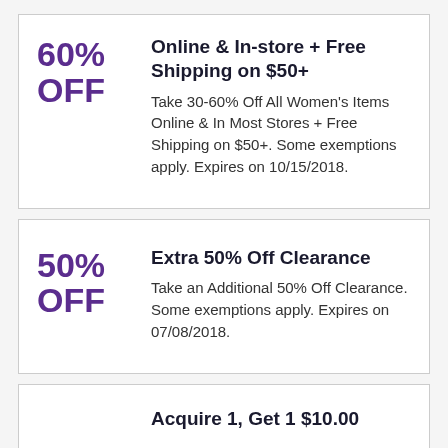60% OFF
Online & In-store + Free Shipping on $50+
Take 30-60% Off All Women's Items Online & In Most Stores + Free Shipping on $50+. Some exemptions apply. Expires on 10/15/2018.
50% OFF
Extra 50% Off Clearance
Take an Additional 50% Off Clearance. Some exemptions apply. Expires on 07/08/2018.
Acquire 1, Get 1 $10.00